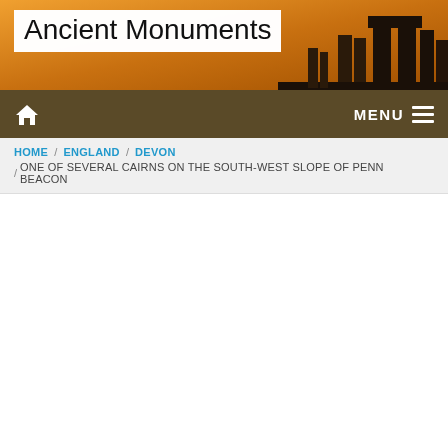[Figure (photo): Website header banner with orange/amber gradient background and silhouette of Stonehenge stones on the right side. White semi-transparent box on left contains the title 'Ancient Monuments'.]
Ancient Monuments
HOME / ENGLAND / DEVON / ONE OF SEVERAL CAIRNS ON THE SOUTH-WEST SLOPE OF PENN BEACON